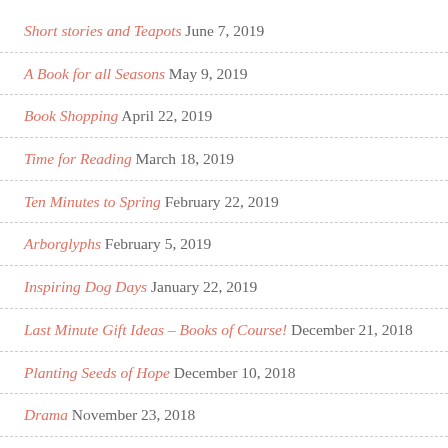Short stories and Teapots June 7, 2019
A Book for all Seasons May 9, 2019
Book Shopping April 22, 2019
Time for Reading March 18, 2019
Ten Minutes to Spring February 22, 2019
Arborglyphs February 5, 2019
Inspiring Dog Days January 22, 2019
Last Minute Gift Ideas – Books of Course! December 21, 2018
Planting Seeds of Hope December 10, 2018
Drama November 23, 2018